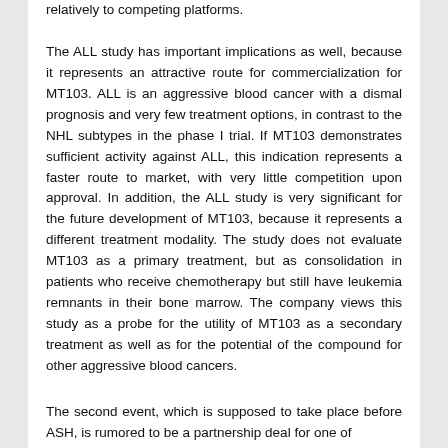relatively to competing platforms.
The ALL study has important implications as well, because it represents an attractive route for commercialization for MT103. ALL is an aggressive blood cancer with a dismal prognosis and very few treatment options, in contrast to the NHL subtypes in the phase I trial. If MT103 demonstrates sufficient activity against ALL, this indication represents a faster route to market, with very little competition upon approval. In addition, the ALL study is very significant for the future development of MT103, because it represents a different treatment modality. The study does not evaluate MT103 as a primary treatment, but as consolidation in patients who receive chemotherapy but still have leukemia remnants in their bone marrow. The company views this study as a probe for the utility of MT103 as a secondary treatment as well as for the potential of the compound for other aggressive blood cancers.
The second event, which is supposed to take place before ASH, is rumored to be a partnership deal for one of